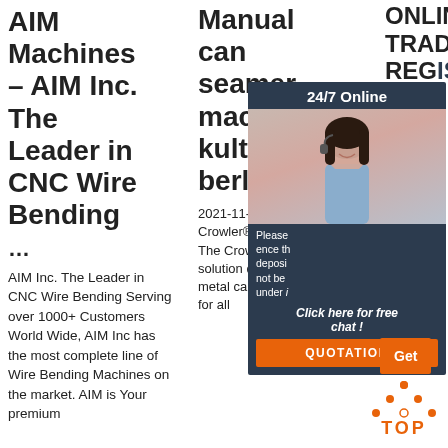AIM Machines – AIM Inc. The Leader in CNC Wire Bending …
AIM Inc. The Leader in CNC Wire Bending Serving over 1000+ Customers World Wide, AIM Inc has the most complete line of Wire Bending Machines on the market. AIM is Your premium
Manual can seamer machine - kulturverein berlin
2021-11-29u2002·u2002The Crowler® Clutch Driven Can Seamer The Crowler is an innovative canning solution designed to seal 32 oz. This metal can capping machine is suitable for all
ONLINE TRADE REGISTRATION
[Figure (infographic): Dark navy panel with '24/7 Online' header, photo of woman with headset, text about deposit/circumstances, 'Click here for free chat!' and orange QUOTATION button. Also an orange Get button.]
[Figure (logo): TOP badge with orange arrow/dot triangle icon above the word TOP in orange bold text]